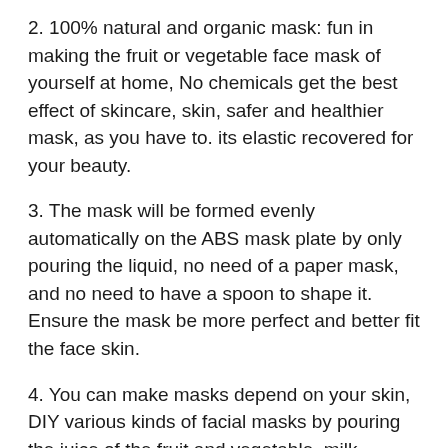2. 100% natural and organic mask: fun in making the fruit or vegetable face mask of yourself at home, No chemicals get the best effect of skincare, skin, safer and healthier mask, as you have to. its elastic recovered for your beauty.
3. The mask will be formed evenly automatically on the ABS mask plate by only pouring the liquid, no need of a paper mask, and no need to have a spoon to shape it. Ensure the mask be more perfect and better fit the face skin.
4. You can make masks depend on your skin, DIY various kinds of facial masks by pouring the juice of the fruit and vegetable, milk, honey, and essential oils, herbs, flowers, eggs, etc.
5. Portable design, easy to carry, can be used at home or travel, replenish moisture for skin anytime and anywhere.
Note: